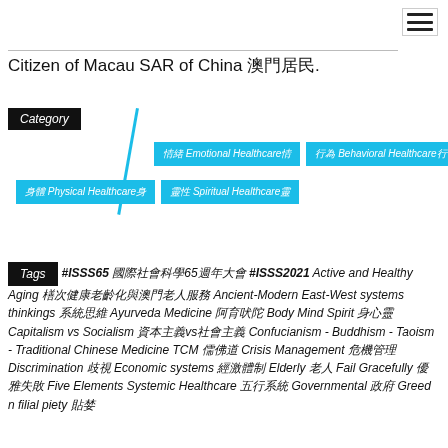Citizen of Macau SAR of China 澳門居民.
[Figure (infographic): Category section with dark label 'Category', blue diagonal slash line, and four blue category tags: '情緒 Emotional Healthcare情', '行為 Behavioral Healthcare行', '身體 Physical Healthcare身', '靈性 Spiritual Healthcare靈']
Tags #ISSS65 國際社會科學65週年大會 #ISSS2021 Active and Healthy Aging 積極健康老齡化與澳門老人服務 Ancient-Modern East-West systems thinkings 系統思維 Ayurveda Medicine 阿育吠陀 Body Mind Spirit 身心靈 Capitalism vs Socialism 資本主義vs社會主義 Confucianism - Buddhism - Taoism - Traditional Chinese Medicine TCM 儒佛道 Crisis Management 危機管理 Discrimination 歧視 Economic systems 經濟體制 Elderly 老人 Fail Gracefully 優雅失敗 Five Elements Systemic Healthcare 五行系統 Governmental 政府 Greed n filial piety 貪婪